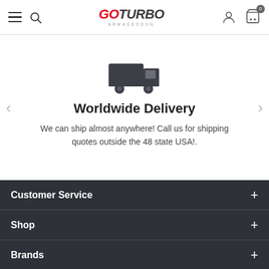GOTURBO ARMAGEDDON — navigation header with hamburger menu, search, logo, user icon, cart icon with badge 0
[Figure (illustration): Dark gray delivery truck / shipping truck icon]
Worldwide Delivery
We can ship almost anywhere! Call us for shipping quotes outside the 48 state USA!.
Customer Service
Shop
Brands